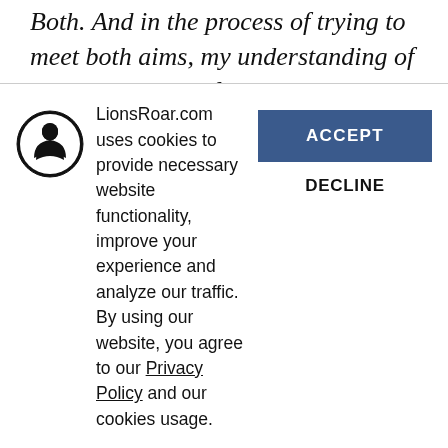Both. And in the process of trying to meet both aims, my understanding of the dhamma was forced to stretch and grow.
The canon presents a challenge to any translator. Apart from relying on personal meditation experience, there are two approaches to understanding the more difficult terms and
LionsRoar.com uses cookies to provide necessary website functionality, improve your experience and analyze our traffic. By using our website, you agree to our Privacy Policy and our cookies usage.